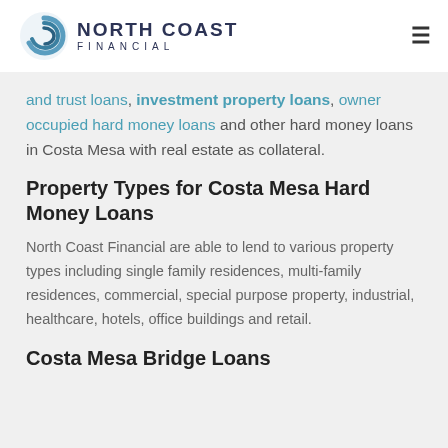[Figure (logo): North Coast Financial logo with circular swirl icon and company name]
and trust loans, investment property loans, owner occupied hard money loans and other hard money loans in Costa Mesa with real estate as collateral.
Property Types for Costa Mesa Hard Money Loans
North Coast Financial are able to lend to various property types including single family residences, multi-family residences, commercial, special purpose property, industrial, healthcare, hotels, office buildings and retail.
Costa Mesa Bridge Loans